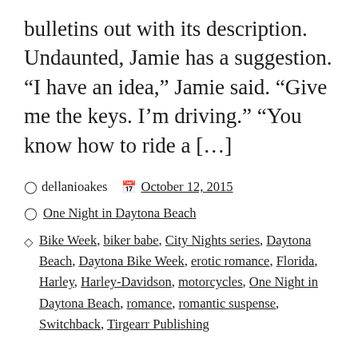bulletins out with its description. Undaunted, Jamie has a suggestion. “I have an idea,” Jamie said. “Give me the keys. I’m driving.” “You know how to ride a […]
dellanioakes   October 12, 2015
One Night in Daytona Beach
Bike Week, biker babe, City Nights series, Daytona Beach, Daytona Bike Week, erotic romance, Florida, Harley, Harley-Davidson, motorcycles, One Night in Daytona Beach, romance, romantic suspense, Switchback, Tirgearr Publishing